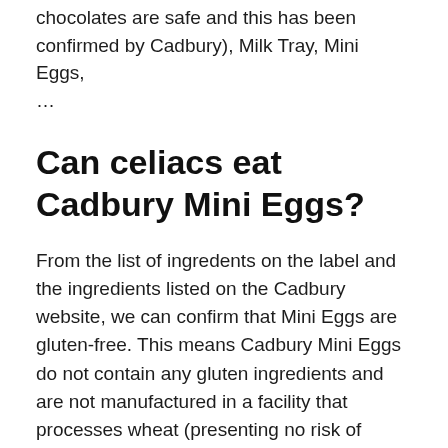chocolates are safe and this has been confirmed by Cadbury), Milk Tray, Mini Eggs, ...
Can celiacs eat Cadbury Mini Eggs?
From the list of ingredents on the label and the ingredients listed on the Cadbury website, we can confirm that Mini Eggs are gluten-free. This means Cadbury Mini Eggs do not contain any gluten ingredients and are not manufactured in a facility that processes wheat (presenting no risk of cross-contamination).
Are Cadbury Flakes gluten